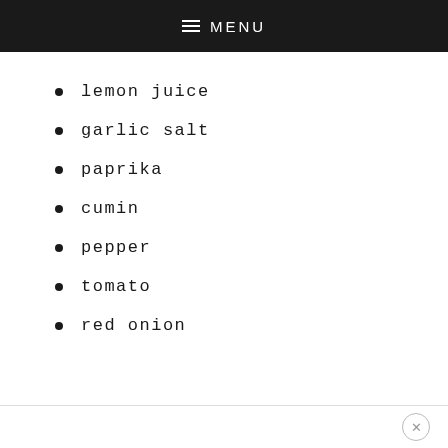MENU
lemon juice
garlic salt
paprika
cumin
pepper
tomato
red onion